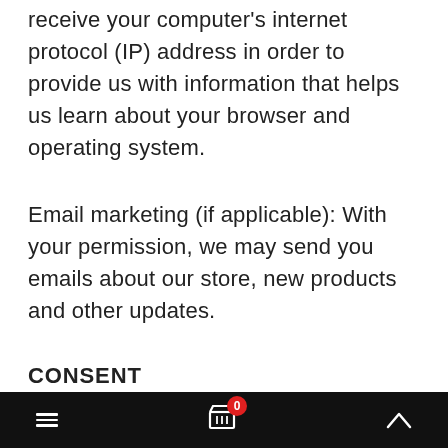receive your computer's internet protocol (IP) address in order to provide us with information that helps us learn about your browser and operating system.
Email marketing (if applicable): With your permission, we may send you emails about our store, new products and other updates.
CONSENT
When you provide us with personal information to complete a transaction, verify your credit card, place an order, arrange for a delivery or return a purchase, we imply that you consent to our
≡  0  ∧